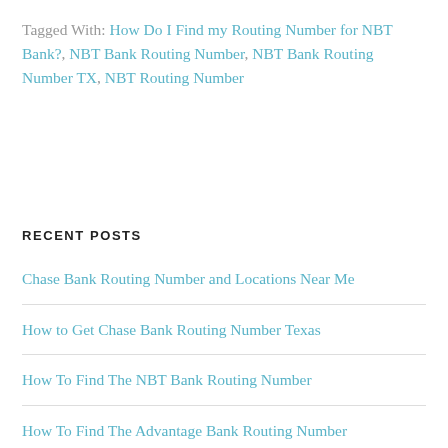Tagged With: How Do I Find my Routing Number for NBT Bank?, NBT Bank Routing Number, NBT Bank Routing Number TX, NBT Routing Number
RECENT POSTS
Chase Bank Routing Number and Locations Near Me
How to Get Chase Bank Routing Number Texas
How To Find The NBT Bank Routing Number
How To Find The Advantage Bank Routing Number
Bank of America Routing Number and Locations